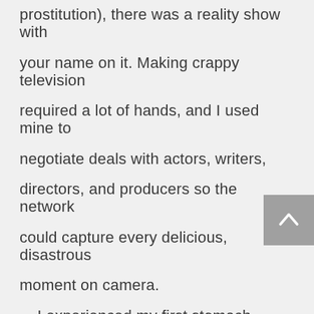prostitution), there was a reality show with your name on it. Making crappy television required a lot of hands, and I used mine to negotiate deals with actors, writers, directors, and producers so the network could capture every delicious, disastrous moment on camera.

    I experienced my first stomach churn when I negotiated a deal with Corey Haim in 2005. Haim starred in the acclaimed coming-